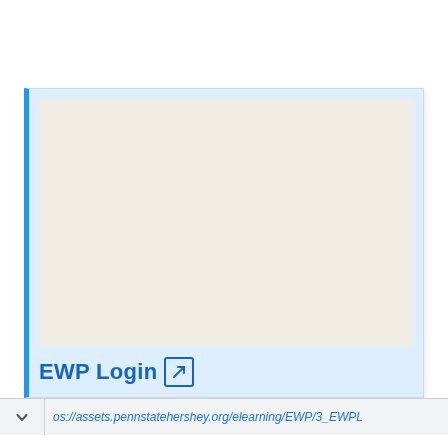[Figure (screenshot): A card/widget with a blue left border and light blue background containing a beige/off-white content area (image placeholder), with 'EWP Login' label and an external link icon at the bottom left.]
os://assets.pennstatehershey.org/elearning/EWP/3_EWPL